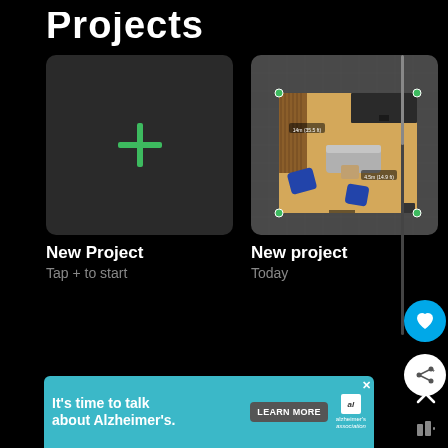Projects
[Figure (screenshot): New Project card with green plus icon on dark background]
New Project
Tap + to start
[Figure (screenshot): Floor plan project thumbnail showing a room layout with furniture]
New project
Today
[Figure (screenshot): Advertisement banner: It's time to talk about Alzheimer's. LEARN MORE. alzheimer's association logo.]